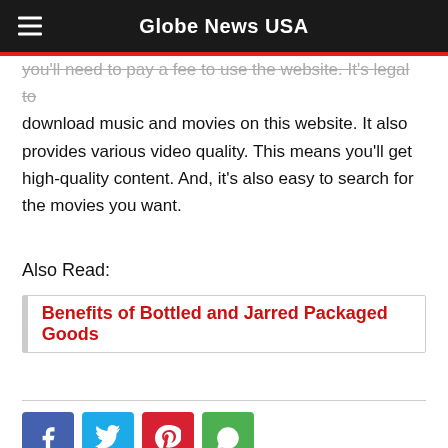Globe News USA
you'll need to pay a fee to use the website. It's legal to download music and movies on this website. It also provides various video quality. This means you'll get high-quality content. And, it's also easy to search for the movies you want.
Also Read:
Benefits of Bottled and Jarred Packaged Goods
[Figure (other): Social share buttons: Facebook, Twitter, Pinterest, WhatsApp]